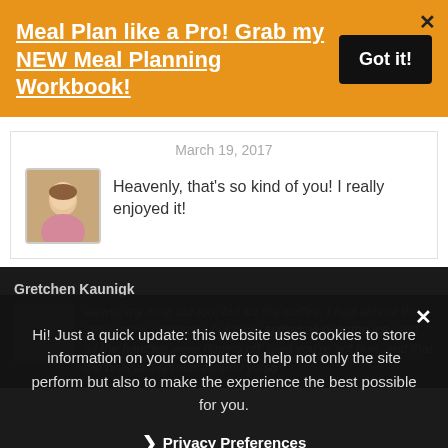Meal Plan like a Pro! Grab my NEW Meal Planning Workbook!
March 19, 2017
Heavenly, that's so kind of you! I really enjoyed it!
Gretchen Kaunigk
awww, my mug did too, but for the coffee. I had almost the same story yesterday but mine spilled all over the ice, and all the handles were ripping off. glad you're not hurt, and that the brussels sprouts helped yo so
Hi! Just a quick update: this website uses cookies to store information on your computer to help not only the site perform but also to make the experience the best possible for you.
Privacy Preferences
I Agree